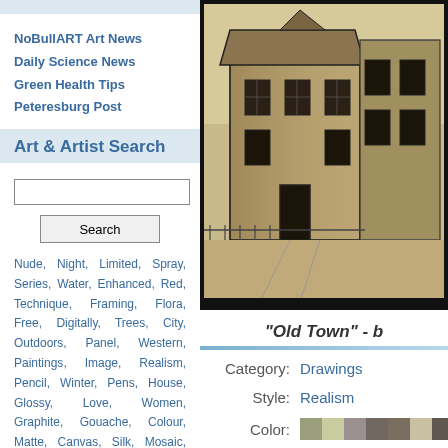NoBullART Art News
Daily Science News
Green Health Tips
Peteresburg Post
Art & Artist Search
Nude, Night, Limited, Spray, Series, Water, Enhanced, Red, Technique, Framing, Flora, Free, Digitally, Trees, City, Outdoors, Panel, Western, Paintings, Image, Realism, Pencil, Winter, Pens, House, Glossy, Love, Women, Graphite, Gouache, Colour, Matte, Canvas, Silk, Mosaic, Visionary, Drawing, Oil Paint, Oils, Wild, Modern, Card, Print, Dancing, Classic, Chads, Portrait, Music, Glass, Beautiful, Oil ...
[ view more ]
[Figure (photo): Detailed pencil/graphite drawing of an old Victorian-style abandoned house with fence and pathway, rendered in sepia/grey tones]
"Old Town" - b
| Field | Value |
| --- | --- |
| Category: | Drawings |
| Style: | Realism |
| Color: | [color swatches] |